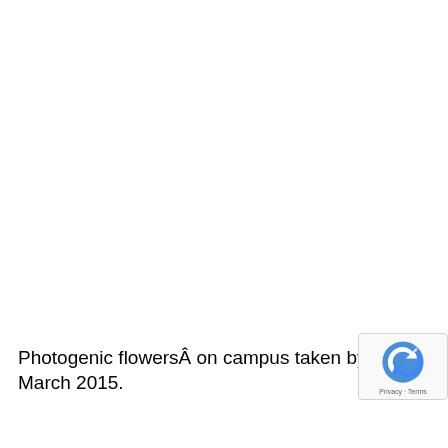Photogenic flowersÂ on campus taken by me, March 2015.